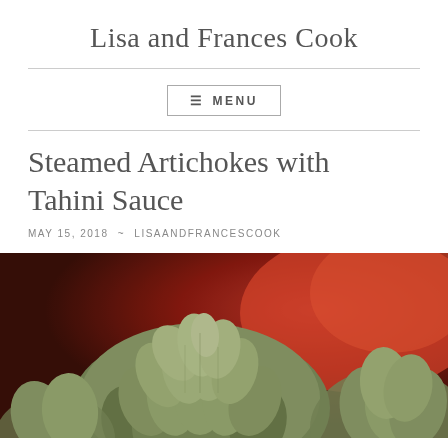Lisa and Frances Cook
MENU
Steamed Artichokes with Tahini Sauce
MAY 15, 2018  ~  LISAANDFRANCESCOOK
[Figure (photo): Close-up photograph of artichokes with green leaves against a red/dark background]